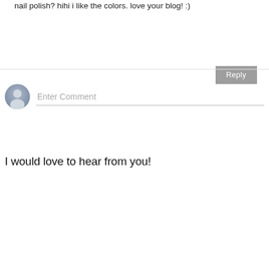nail polish? hihi i like the colors. love your blog! :)
[Figure (other): Reply button, gray background with white text]
[Figure (other): User avatar placeholder icon (gray silhouette) next to Enter Comment input field]
I would love to hear from you!